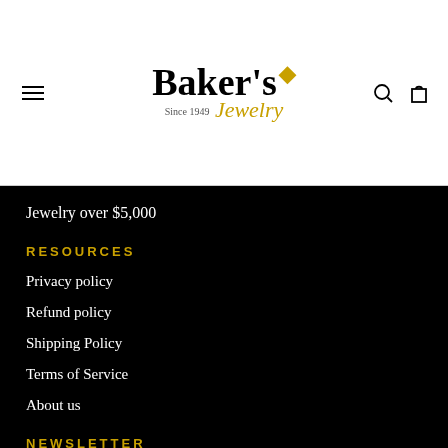[Figure (logo): Baker's Jewelry logo with diamond icon and cursive subtitle]
Jewelry over $5,000
RESOURCES
Privacy policy
Refund policy
Shipping Policy
Terms of Service
About us
NEWSLETTER